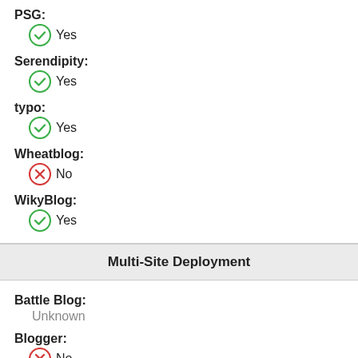PSG:
Yes
Serendipity:
Yes
typo:
Yes
Wheatblog:
No
WikyBlog:
Yes
Multi-Site Deployment
Battle Blog:
Unknown
Blogger:
No